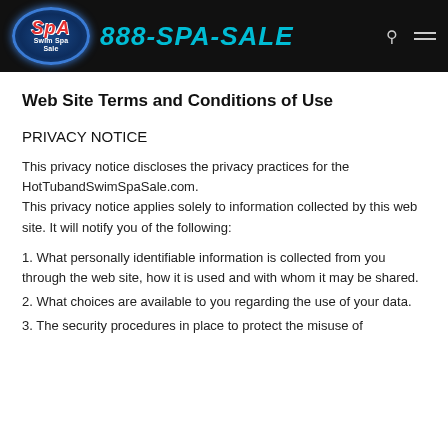888-SPA-SALE
Web Site Terms and Conditions of Use
PRIVACY NOTICE
This privacy notice discloses the privacy practices for the HotTubandSwimSpaSale.com.
This privacy notice applies solely to information collected by this web site. It will notify you of the following:
1. What personally identifiable information is collected from you through the web site, how it is used and with whom it may be shared.
2. What choices are available to you regarding the use of your data.
3. The security procedures in place to protect the misuse of